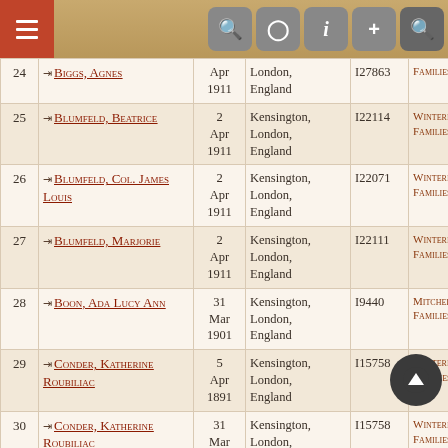Navigation bar with menu, search, and tool icons
| # | Name | Date | Place | ID | Families |
| --- | --- | --- | --- | --- | --- |
| 24 | Biggs, Agnes | Apr 1911 | London, England | I27863 | Families |
| 25 | Blumfeld, Beatrice | 2 Apr 1911 | Kensington, London, England | I22114 | Winterb... Families |
| 26 | Blumfeld, Col. James Louis | 2 Apr 1911 | Kensington, London, England | I22071 | Winterb... Families |
| 27 | Blumfeld, Marjorie | 2 Apr 1911 | Kensington, London, England | I22111 | Winterb... Families |
| 28 | Boon, Ada Lucy Ann | 31 Mar 1901 | Kensington, London, England | I9440 | Mitchel... Families |
| 29 | Conder, Katherine Roubiliac | 5 Apr 1891 | Kensington, London, England | I15758 | Winterb... Families |
| 30 | Conder, Katherine Roubiliac | 31 Mar 1901 | Kensington, London, England | I15758 | Winterb... Families |
| 31 | Conder, Katherine Roubiliac | 2 Apr 1911 | Kensington, London, England | I15758 | Winterb... Families |
| 32 |  | 2 | Kensington, |  |  |